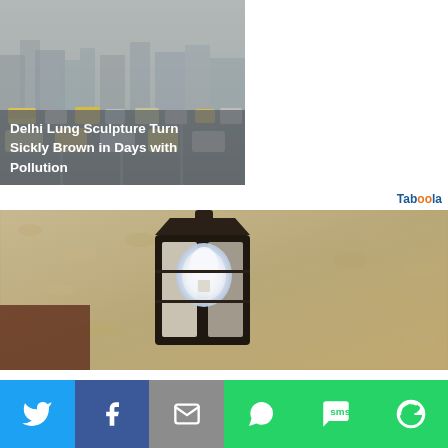[Figure (photo): News article card showing smoggy Delhi traffic with cars on a hazy road, overlay text: Delhi Lung Sculpture Turn Sickly Brown in Days with Pollution]
[Figure (photo): Close-up photo of a vintage wall-mounted lantern with a bright bulb against a sandy/beige textured wall]
[Figure (infographic): Social sharing bar with Twitter (blue), Facebook (dark blue), Email (gray), WhatsApp (green), SMS (green), and More (green with circular arrow icon) buttons]